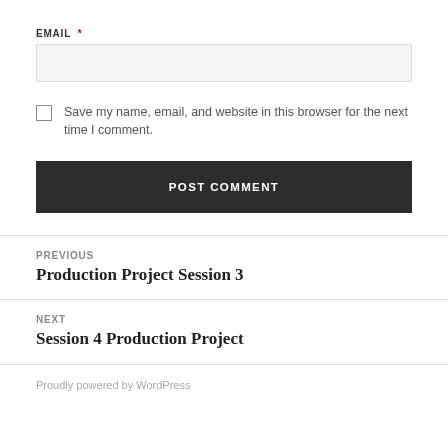EMAIL *
Save my name, email, and website in this browser for the next time I comment.
POST COMMENT
PREVIOUS
Production Project Session 3
NEXT
Session 4 Production Project
Proudly powered by WordPress